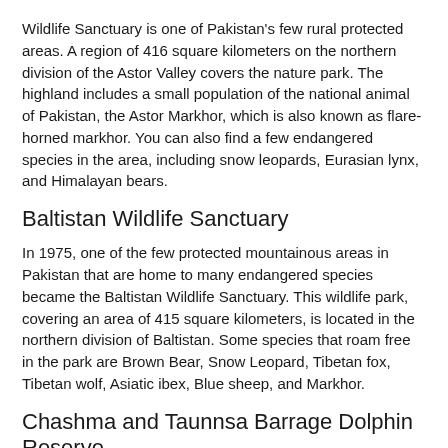Wildlife Sanctuary is one of Pakistan's few rural protected areas. A region of 416 square kilometers on the northern division of the Astor Valley covers the nature park. The highland includes a small population of the national animal of Pakistan, the Astor Markhor, which is also known as flare-horned markhor. You can also find a few endangered species in the area, including snow leopards, Eurasian lynx, and Himalayan bears.
Baltistan Wildlife Sanctuary
In 1975, one of the few protected mountainous areas in Pakistan that are home to many endangered species became the Baltistan Wildlife Sanctuary. This wildlife park, covering an area of 415 square kilometers, is located in the northern division of Baltistan. Some species that roam free in the park are Brown Bear, Snow Leopard, Tibetan fox, Tibetan wolf, Asiatic ibex, Blue sheep, and Markhor.
Chashma and Taunnsa Barrage Dolphin Reserve
The Chashma and Taunsa Barrage Dolphin Reserve is the closest briefing concerning being from off and destination